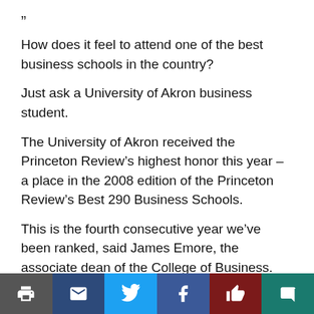”
How does it feel to attend one of the best business schools in the country?
Just ask a University of Akron business student.
The University of Akron received the Princeton Review’s highest honor this year – a place in the 2008 edition of the Princeton Review’s Best 290 Business Schools.
This is the fourth consecutive year we’ve been ranked, said James Emore, the associate dean of the College of Business. What’s unique is that this is based upon the student’s perceptions – it is a survey of what they think of the academics.
[Figure (infographic): Social sharing bar with six buttons: print, email, Twitter, Facebook, like, and comment icons on colored backgrounds.]